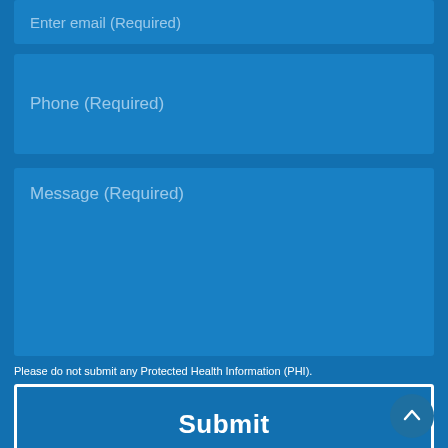Enter email (Required)
Phone (Required)
Message (Required)
Please do not submit any Protected Health Information (PHI).
Submit